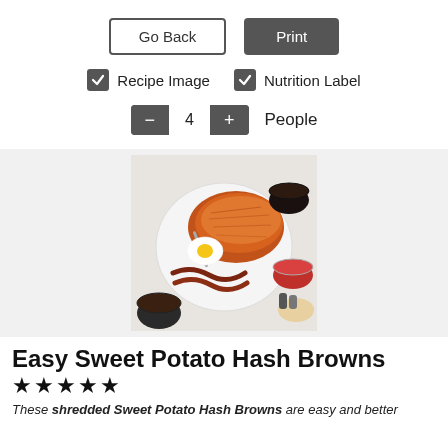[Figure (screenshot): UI buttons: 'Go Back' (outlined) and 'Print' (dark filled)]
✓ Recipe Image   ✓ Nutrition Label
— 4 + People
[Figure (photo): Overhead photo of a plate with sweet potato hash browns, a fried egg, bacon strips, and cups of coffee and jam on a marble surface]
Easy Sweet Potato Hash Browns
★★★★★
These shredded Sweet Potato Hash Browns are easy and better